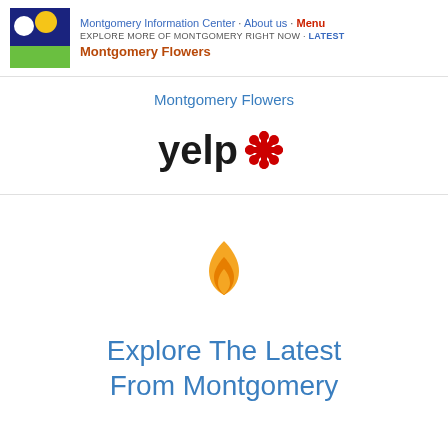Montgomery Information Center · About us · Menu
EXPLORE MORE OF MONTGOMERY RIGHT NOW · Latest
Montgomery Flowers
Montgomery Flowers
[Figure (logo): Yelp logo with red asterisk/snowflake icon]
[Figure (illustration): Orange flame emoji icon]
Explore The Latest From Montgomery